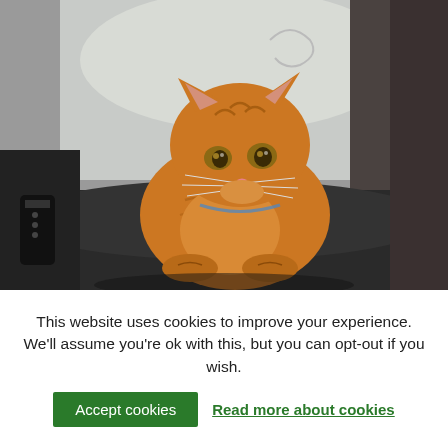[Figure (photo): An orange tabby cat sitting on a dark leather chair/seat, looking upward. The cat is plump and has amber eyes. In the background there is a light-colored pillow and a dark wall/door area. A TV remote is visible in the lower left.]
This website uses cookies to improve your experience. We'll assume you're ok with this, but you can opt-out if you wish.
Accept cookies
Read more about cookies